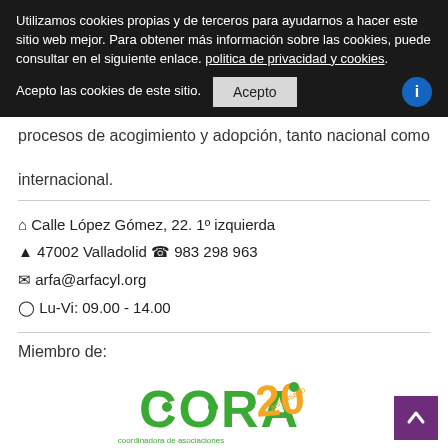Utilizamos cookies propias y de terceros para ayudarnos a hacer este sitio web mejor. Para obtener más información sobre las cookies, puede consultar en el siguiente enlace. politica de privacidad y cookies.
Acepto las cookies de este sitio.
procesos de acogimiento y adopción, tanto nacional como internacional.
🏠 Calle López Gómez, 22. 1º izquierda
🚩 47002 Valladolid 📞 983 298 963
✉ arfa@arfacyl.org
🕐 Lu-Vi: 09.00 - 14.00
Miembro de:
[Figure (logo): CORA 20 aniversario logo - Coordinadora de asociaciones de adopción y acogimiento]
Nuestros servicios